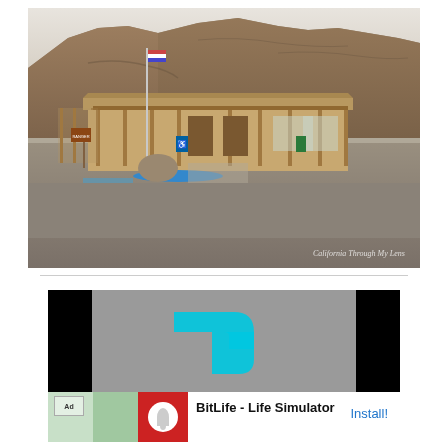[Figure (photo): Photograph of a wooden visitor center or ranger station building with a covered porch/pavilion structure, situated against dramatic rocky canyon cliffs in the background. A flagpole stands to the left, blue kayaks or equipment on the ground in front. Desert/arid landscape. Watermark reads 'California Through My Lens' in bottom right corner.]
[Figure (screenshot): Mobile advertisement banner showing 'BitLife - Life Simulator' app with app icon, gray background with cyan/turquoise arrow/play button shape, black letterbox bars on sides, and 'Install!' button in blue text. 'Ad' label visible in top left corner.]